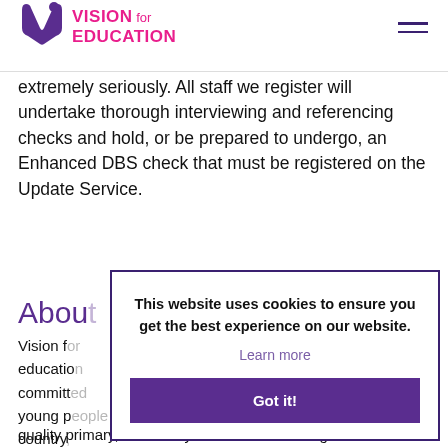Vision for Education
extremely seriously. All staff we register will undertake thorough interviewing and referencing checks and hold, or be prepared to undergo, an Enhanced DBS check that must be registered on the Update Service.
About
Vision for education committed young people country, quality primary, secondary and SEND teaching
This website uses cookies to ensure you get the best experience on our website.
Learn more
Got it!